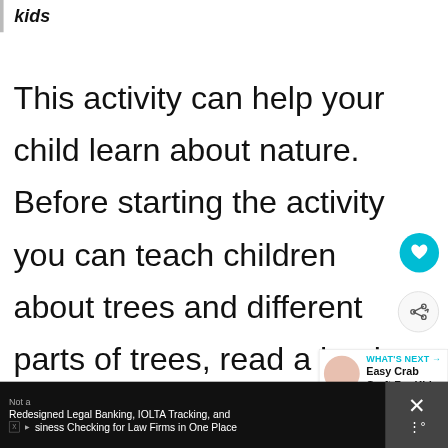kids
This activity can help your child learn about nature. Before starting the activity you can teach children about trees and different parts of trees, read a book related to it or ask a few mind boggling riddles like this:
[Figure (infographic): Social share UI overlay: heart button (teal circle with heart icon), count label '19', and share button (circle with share icon)]
[Figure (infographic): What's Next banner with thumbnail image showing red crab craft, label 'WHAT'S NEXT ->', title 'Easy Crab Craft For Kids']
Not a Redesigned Legal Banking, IOLTA Tracking, and business Checking for Law Firms in One Place